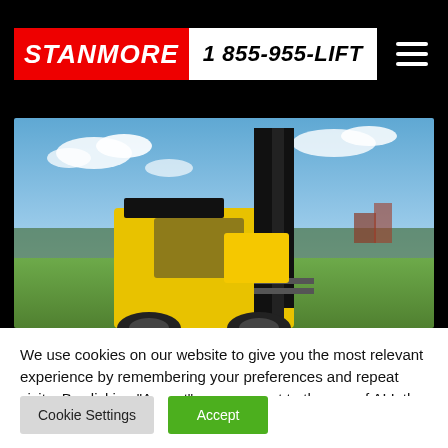STANMORE | 1 855-955-LIFT
[Figure (photo): Yellow forklift with black mast photographed outdoors on grass against a blue sky with clouds and trees in background]
We use cookies on our website to give you the most relevant experience by remembering your preferences and repeat visits. By clicking “Accept”, you consent to the use of ALL the cookies.
Do not sell my personal information.
Cookie Settings  Accept